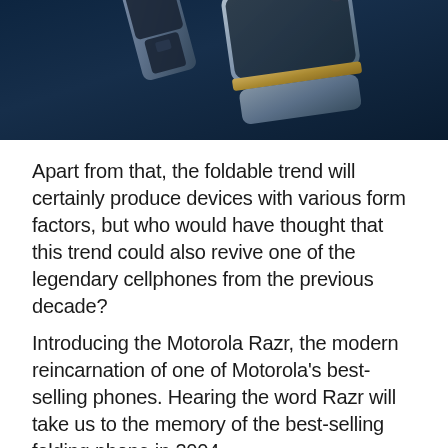[Figure (photo): Product photo of a foldable smartphone (Motorola Razr) against a dark blue background, showing the folded device at an angle]
Apart from that, the foldable trend will certainly produce devices with various form factors, but who would have thought that this trend could also revive one of the legendary cellphones from the previous decade?
Introducing the Motorola Razr, the modern reincarnation of one of Motorola's best-selling phones. Hearing the word Razr will take us to the memory of the best-selling folding phone in 2004